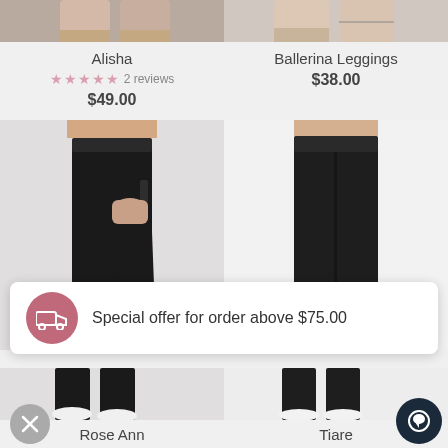[Figure (screenshot): Top cropped product image - Alisha leggings, showing ankles/feet]
Alisha
2 reviews
$49.00
[Figure (screenshot): Top cropped product image - Ballerina Leggings, showing ankles with anklet]
Ballerina Leggings
$38.00
[Figure (photo): Model wearing black high-waist leggings with side pocket, hand in pocket]
[Figure (photo): Model wearing black high-waist leggings, plain front view]
Special offer for order above $75.00
[Figure (screenshot): Bottom cropped product image - Rose Ann leggings]
Rose Ann
[Figure (screenshot): Bottom cropped product image - Tiare leggings]
Tiare